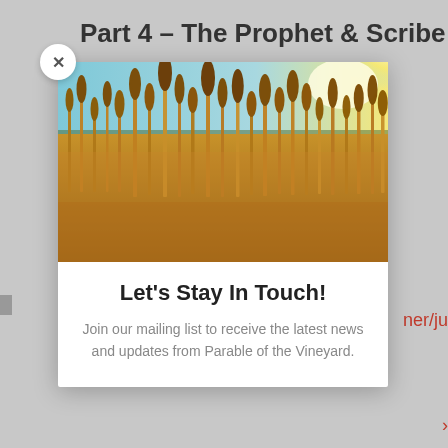Part 4 – The Prophet & Scribe of
[Figure (photo): Close-up photo of golden wheat field with bright sunlit sky in the background]
Let's Stay In Touch!
Join our mailing list to receive the latest news and updates from Parable of the Vineyard.